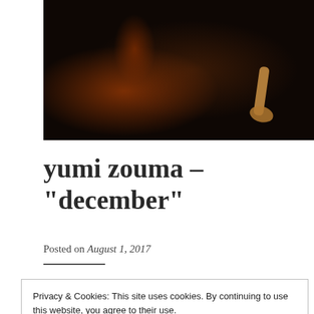[Figure (photo): Dark theatrical photo showing figures in low light, with a warm orange/amber light source illuminating arms and hands against a very dark background.]
yumi zouma – "december"
Posted on August 1, 2017
Privacy & Cookies: This site uses cookies. By continuing to use this website, you agree to their use.
To find out more, including how to control cookies, see here: Cookie Policy
Close and accept